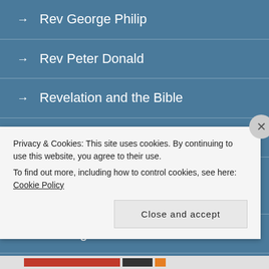→ Rev George Philip
→ Rev Peter Donald
→ Revelation and the Bible
→ Sinclair Ferguson – sermons
→ The Holy Spirit in the Life of Faith (with links to audio version)
→ Theological Articles
Privacy & Cookies: This site uses cookies. By continuing to use this website, you agree to their use. To find out more, including how to control cookies, see here: Cookie Policy
Close and accept